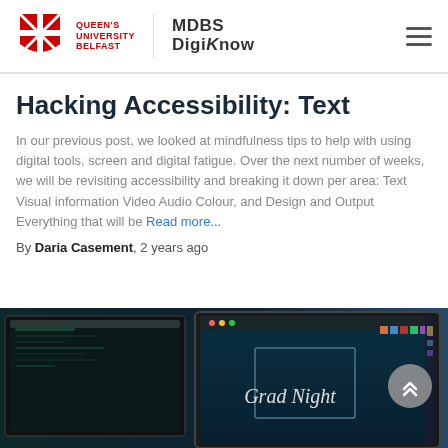Queen's University Belfast | MDBS DigiKnow
Hacking Accessibility: Text
In our previous post, we looked at mindfulness tips to help with using digital tools, screen and digital fatigue. Over the next number of weeks, we will be revisiting accessibility and breaking it down per area: Text Visual information Video Audio Colour, and Design and Output Everything that will be Read more...
By Daria Casement, 2 years ago
[Figure (photo): Computer monitors showing design software with 'Grad Night' script text on screen, dark teal and blue tones]